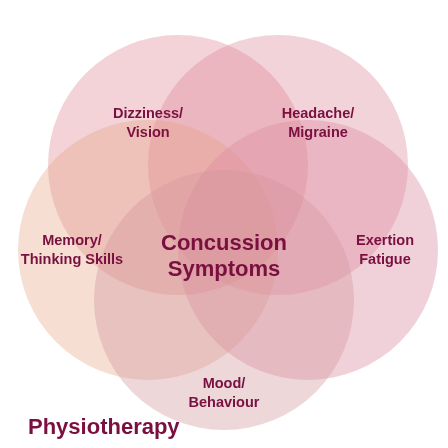[Figure (infographic): Venn diagram showing overlapping circles representing concussion symptoms: Dizziness/Vision (top left), Headache/Migraine (top right), Exertion Fatigue (right), Mood/Behaviour (bottom), Memory/Thinking Skills (left). The center where all circles overlap is labeled 'Concussion Symptoms'.]
Physiotherapy